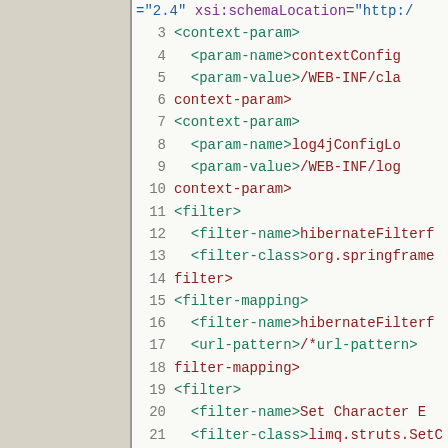[Figure (screenshot): XML/web.xml source code listing showing lines 3-23 with syntax highlighting. Line numbers in gray, XML tags in teal/green, attribute names in purple, attribute values in blue, closing tag text in dark red. Left panel is a beige/tan sidebar. Code shows context-param, filter, filter-mapping elements.]